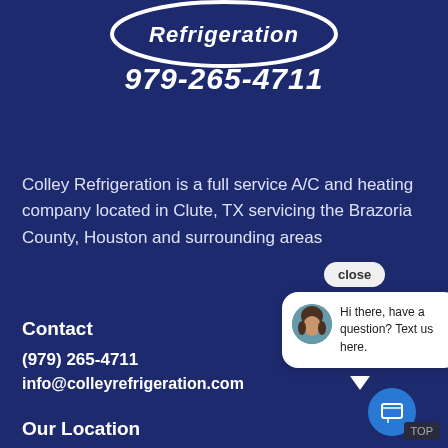[Figure (logo): Colley Refrigeration logo — partial white ellipse with 'Refrigeration' text visible at top]
979-265-4711
Colley Refrigeration is a full service A/C and heating company located in Clute, TX servicing the Brazoria County, Houston and surrounding areas
Contact
(979) 265-4711
info@colleyrefrigeration.com
[Figure (screenshot): Chat popup with close button and speech bubble: avatar of a woman, text 'Hi there, have a question? Text us here.']
Our Location